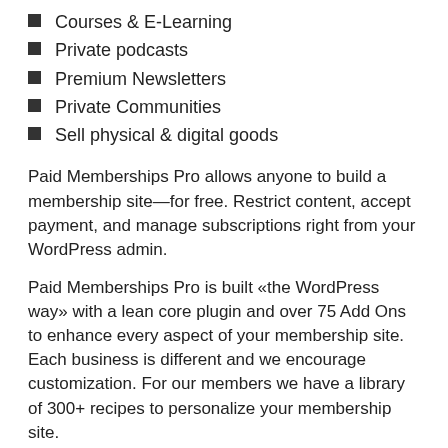Courses & E-Learning
Private podcasts
Premium Newsletters
Private Communities
Sell physical & digital goods
Paid Memberships Pro allows anyone to build a membership site—for free. Restrict content, accept payment, and manage subscriptions right from your WordPress admin.
Paid Memberships Pro is built «the WordPress way» with a lean core plugin and over 75 Add Ons to enhance every aspect of your membership site. Each business is different and we encourage customization. For our members we have a library of 300+ recipes to personalize your membership site.
Paid Memberships Pro is the flagship product of Stranger Studios. We are a bootstrapped company